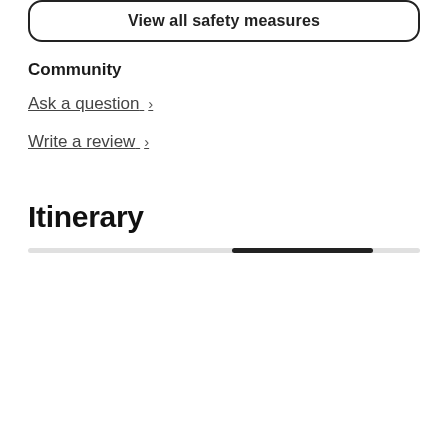View all safety measures
Community
Ask a question >
Write a review >
Itinerary